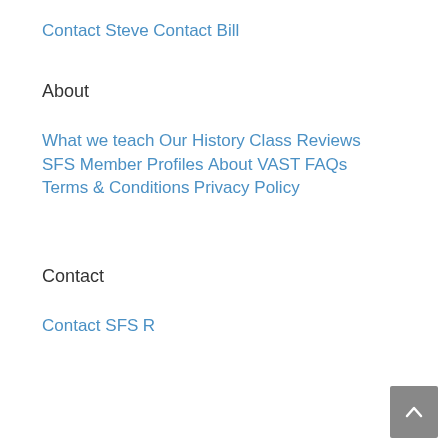Contact Steve
Contact Bill
About
What we teach
Our History
Class Reviews
SFS Member Profiles
About VAST
FAQs
Terms & Conditions
Privacy Policy
Contact
Contact SFS